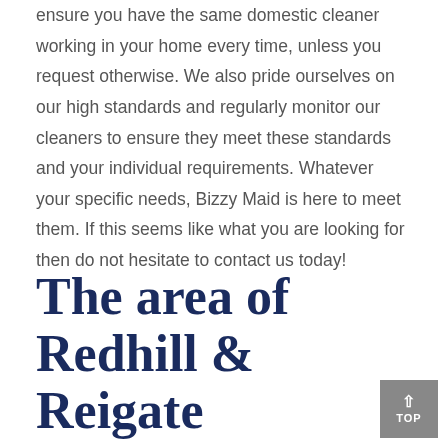ensure you have the same domestic cleaner working in your home every time, unless you request otherwise. We also pride ourselves on our high standards and regularly monitor our cleaners to ensure they meet these standards and your individual requirements. Whatever your specific needs, Bizzy Maid is here to meet them. If this seems like what you are looking for then do not hesitate to contact us today!
The area of Redhill & Reigate